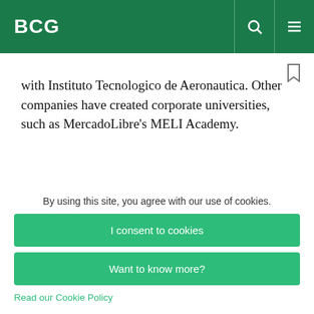BCG
with Instituto Tecnologico de Aeronautica. Other companies have created corporate universities, such as MercadoLibre's MELI Academy.
POSITIONING FOR THE FUTURE
These five success factors have enabled multilatinas...
By using this site, you agree with our use of cookies.
I consent to cookies
Want to know more?
Read our Cookie Policy